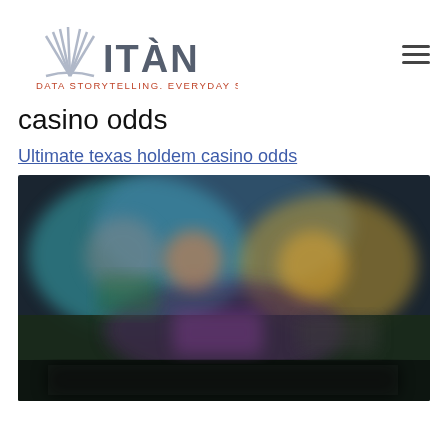ITAN — DATA STORYTELLING. EVERYDAY SOLUTIONS.
casino odds
Ultimate texas holdem casino odds
[Figure (photo): Blurred screenshot of a casino game interface showing cards and chips on a table under colorful lighting]